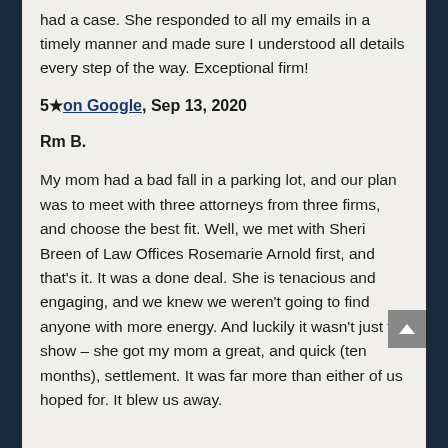had a case. She responded to all my emails in a timely manner and made sure I understood all details every step of the way. Exceptional firm!
5★on Google, Sep 13, 2020
Rm B.
My mom had a bad fall in a parking lot, and our plan was to meet with three attorneys from three firms, and choose the best fit. Well, we met with Sheri Breen of Law Offices Rosemarie Arnold first, and that's it. It was a done deal. She is tenacious and engaging, and we knew we weren't going to find anyone with more energy. And luckily it wasn't just for show – she got my mom a great, and quick (ten months), settlement. It was far more than either of us hoped for. It blew us away.